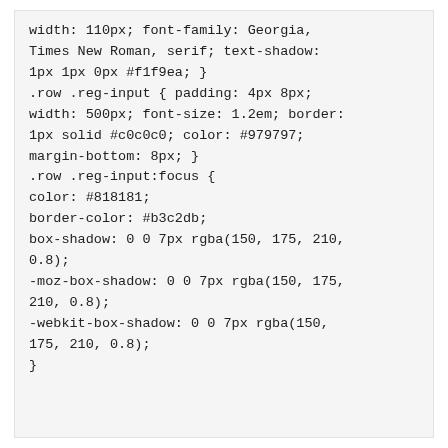width: 110px; font-family: Georgia, Times New Roman, serif; text-shadow: 1px 1px 0px #f1f9ea; }
.row .reg-input { padding: 4px 8px; width: 500px; font-size: 1.2em; border: 1px solid #c0c0c0; color: #979797; margin-bottom: 8px; }
.row .reg-input:focus {
color: #818181;
border-color: #b3c2db;
box-shadow: 0 0 7px rgba(150, 175, 210, 0.8);
-moz-box-shadow: 0 0 7px rgba(150, 175, 210, 0.8);
-webkit-box-shadow: 0 0 7px rgba(150, 175, 210, 0.8);
}